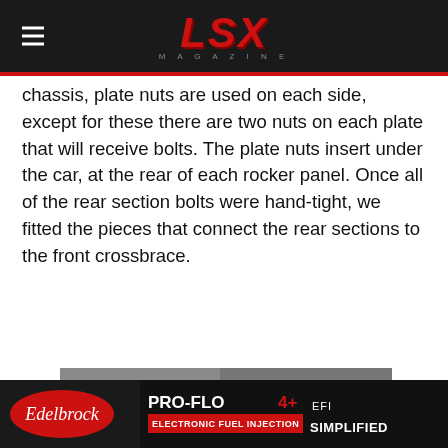LSX Magazine
chassis, plate nuts are used on each side, except for these there are two nuts on each plate that will receive bolts. The plate nuts insert under the car, at the rear of each rocker panel. Once all of the rear section bolts were hand-tight, we fitted the pieces that connect the rear sections to the front crossbrace.
[Figure (illustration): Scat Manufacturing advertisement: 'EVERYTHING FOR YOUR LS ENGINE' with Scat logo over crankshaft/engine parts imagery]
[Figure (illustration): Edelbrock PRO-FLO 4+ Electronic Fuel Injection 'EFI Simplified' advertisement banner]